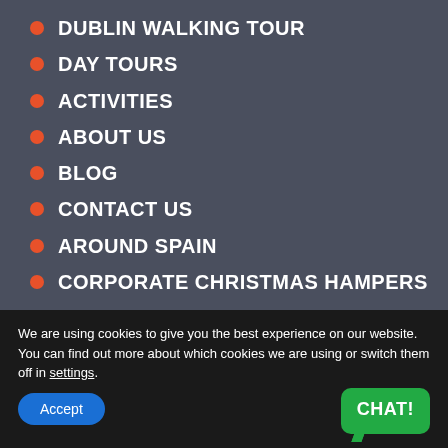DUBLIN WALKING TOUR
DAY TOURS
ACTIVITIES
ABOUT US
BLOG
CONTACT US
AROUND SPAIN
CORPORATE CHRISTMAS HAMPERS
We are using cookies to give you the best experience on our website.
You can find out more about which cookies we are using or switch them off in settings.
Accept
CHAT!